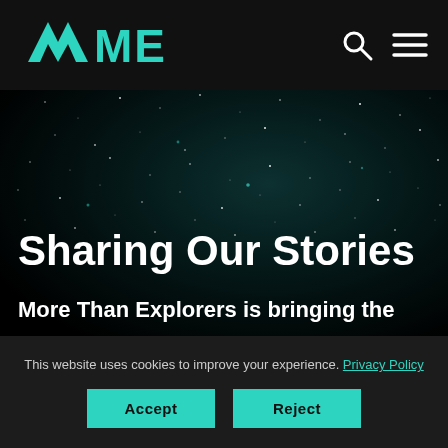AME
[Figure (screenshot): Dark starfield hero image with deep space background, showing scattered white and blue-tinted stars against a dark teal-black gradient sky]
Sharing Our Stories
More Than Explorers is bringing the
This website uses cookies to improve your experience. Privacy Policy
Accept
Reject